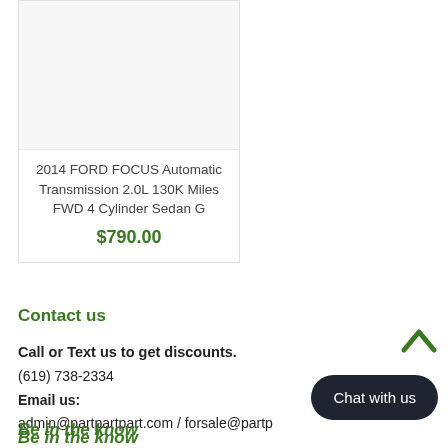[Figure (photo): Product image placeholder area for 2014 Ford Focus Automatic Transmission, light gray background]
2014 FORD FOCUS Automatic Transmission 2.0L 130K Miles FWD 4 Cylinder Sedan G
$790.00
Contact us
Call or Text us to get discounts.
(619) 738-2334
Email us:
admin@partpartpart.com / forsale@partp...
Be in the know